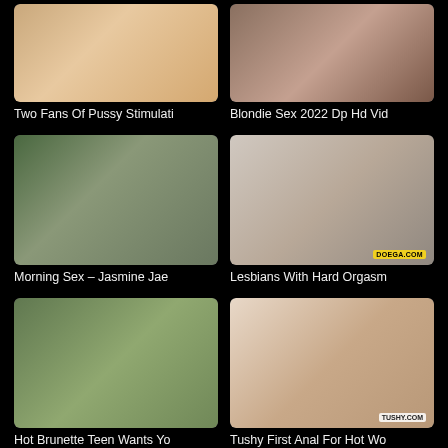[Figure (other): Video thumbnail - skin toned close up]
Two Fans Of Pussy Stimulati
[Figure (other): Video thumbnail - couple on bed]
Blondie Sex 2022 Dp Hd Vid
[Figure (other): Video thumbnail - woman on bed indoors]
Morning Sex – Jasmine Jae
[Figure (other): Video thumbnail - two women in kitchen, DOEGA.COM watermark]
Lesbians With Hard Orgasm
[Figure (other): Video thumbnail - woman on green background]
Hot Brunette Teen Wants Yo
[Figure (other): Video thumbnail - couple on white bed, TUSHY.COM watermark]
Tushy First Anal For Hot Wo